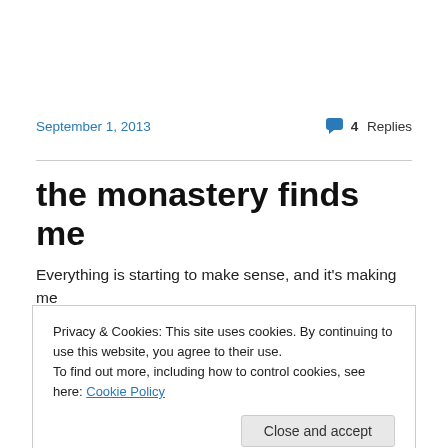September 1, 2013
4 Replies
the monastery finds me
Everything is starting to make sense, and it's making me
Privacy & Cookies: This site uses cookies. By continuing to use this website, you agree to their use.
To find out more, including how to control cookies, see here: Cookie Policy
Close and accept
say ‘enough’. To sit still and to face whatever it is that’s